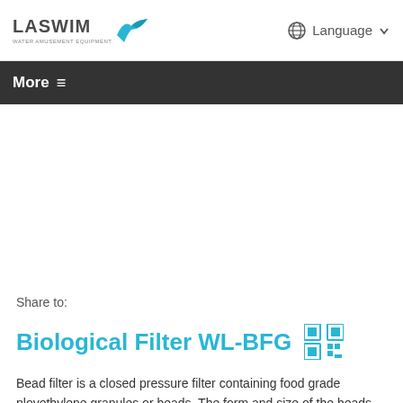LASWIM | Language
More ☰
Share to:
Biological Filter WL-BFG
Bead filter is a closed pressure filter containing food grade ployethylene granules or beads. The form and size of the beads create a large surface on which bacteria and suspended solid can